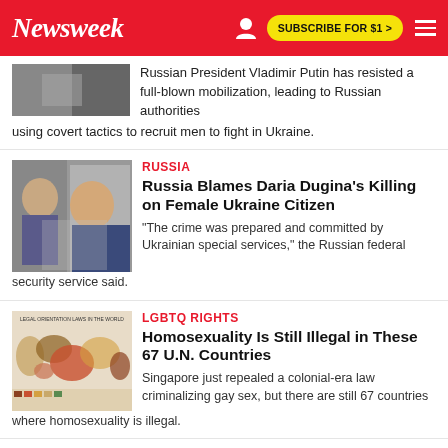Newsweek | SUBSCRIBE FOR $1 >
Russian President Vladimir Putin has resisted a full-blown mobilization, leading to Russian authorities using covert tactics to recruit men to fight in Ukraine.
RUSSIA
Russia Blames Daria Dugina's Killing on Female Ukraine Citizen
"The crime was prepared and committed by Ukrainian special services," the Russian federal security service said.
LGBTQ RIGHTS
Homosexuality Is Still Illegal in These 67 U.N. Countries
Singapore just repealed a colonial-era law criminalizing gay sex, but there are still 67 countries where homosexuality is illegal.
MIKE PENCE
Mike Pence Says Jan. 6 Probe